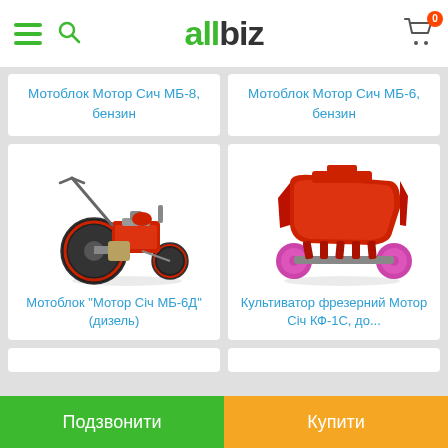allbiz
Мотоблок Мотор Сич МБ-8, бензин
Мотоблок Мотор Сич МБ-6, бензин
[Figure (photo): Red walk-behind tractor / motoblock with large black wheels]
Мотоблок "Мотор Січ МБ-6Д" (дизель)
[Figure (photo): Red rotary tiller / cultivator attachment with pink wheels]
Культиватор фрезерний Мотор Січ КФ-1С, до...
Подзвонити
Купити